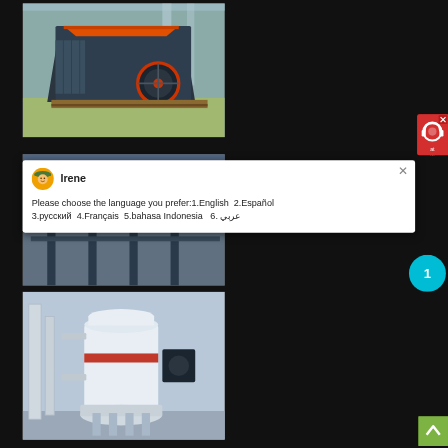[Figure (photo): Industrial impact crusher / rock crushing machine in a factory setting, dark grey machine with orange/red accents and large wheel, on wooden pallets inside a warehouse]
[Figure (photo): Industrial equipment photo partially visible behind the chat popup overlay]
[Figure (screenshot): Live chat popup window with avatar of support agent Irene, offering language selection: 1.English 2.Español 3.русский 4.Français 5.bahasa Indonesia 6. عربي, with close X button]
[Figure (photo): Industrial vertical mill / grinding machine, white cylindrical equipment with red band and black motor components, in a facility]
Irene
Please choose the language you prefer:1.English  2.Español  3.русский  4.Français  5.bahasa Indonesia   6. عربي